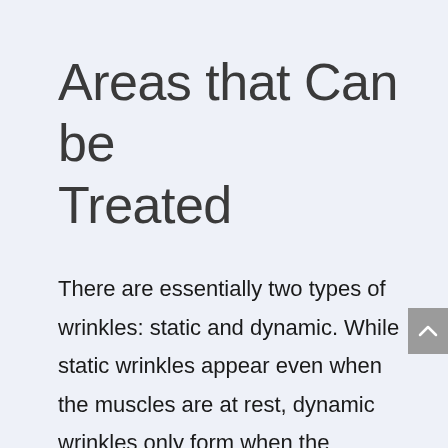Areas that Can be Treated
There are essentially two types of wrinkles: static and dynamic. While static wrinkles appear even when the muscles are at rest, dynamic wrinkles only form when the muscles surrounding it move. Muscle relaxer injection is most effective